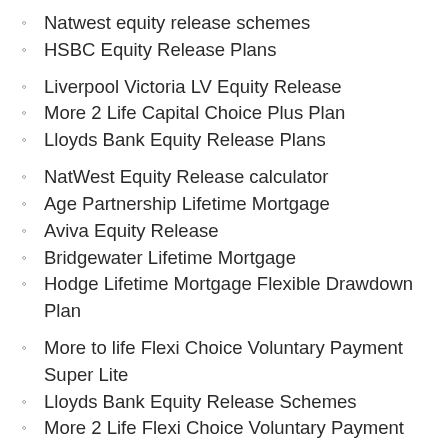Natwest equity release schemes
HSBC Equity Release Plans
Liverpool Victoria LV Equity Release
More 2 Life Capital Choice Plus Plan
Lloyds Bank Equity Release Plans
NatWest Equity Release calculator
Age Partnership Lifetime Mortgage
Aviva Equity Release
Bridgewater Lifetime Mortgage
Hodge Lifetime Mortgage Flexible Drawdown Plan
More to life Flexi Choice Voluntary Payment Super Lite
Lloyds Bank Equity Release Schemes
More 2 Life Flexi Choice Voluntary Payment Super Lite